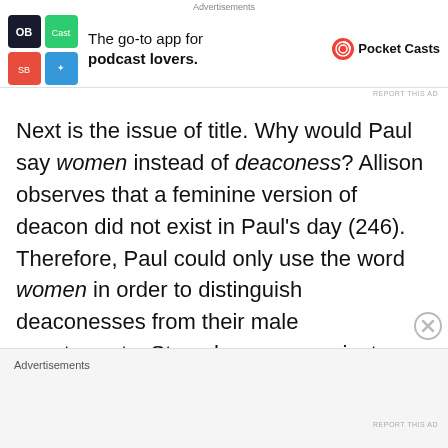[Figure (other): Advertisement banner for Pocket Casts app with colorful icon grid and text]
Next is the issue of title. Why would Paul say women instead of deaconess? Allison observes that a feminine version of deacon did not exist in Paul's day (246). Therefore, Paul could only use the word women in order to distinguish deaconesses from their male counterparts. Strauch argues against deaconesses (favoring the wife interpretation) by asking why Paul includes this verse about women deacons if they are a part of
[Figure (other): Advertisement banner at the bottom of the page]